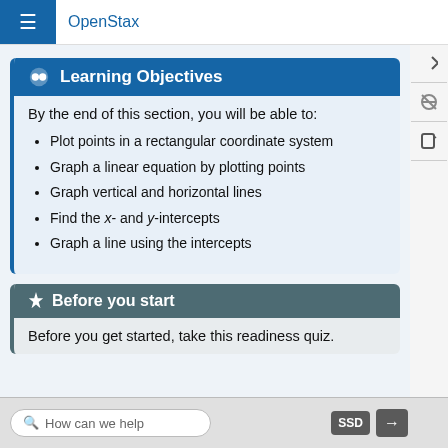OpenStax
Learning Objectives
By the end of this section, you will be able to:
Plot points in a rectangular coordinate system
Graph a linear equation by plotting points
Graph vertical and horizontal lines
Find the x- and y-intercepts
Graph a line using the intercepts
Before you start
Before you get started, take this readiness quiz.